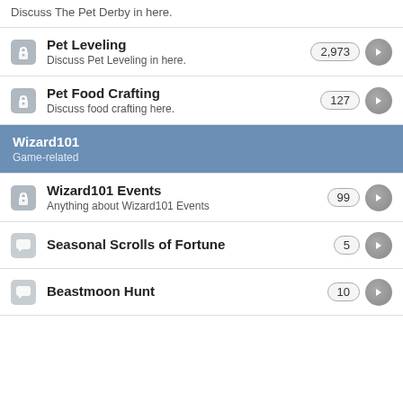Discuss The Pet Derby in here.
Pet Leveling — 2,973 — Discuss Pet Leveling in here.
Pet Food Crafting — 127 — Discuss food crafting here.
Wizard101
Game-related
Wizard101 Events — 99 — Anything about Wizard101 Events
Seasonal Scrolls of Fortune — 5
Beastmoon Hunt — 10